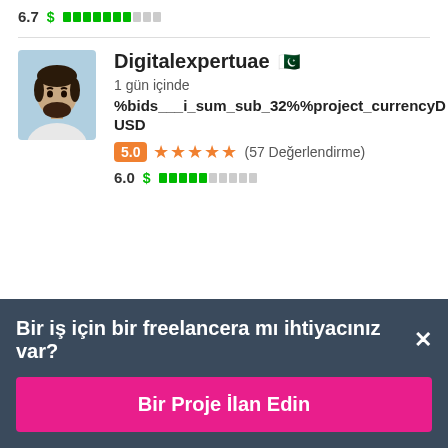6.7 $ ████████░░░
Digitalexpertuae 🇵🇰
1 gün içinde
%bids___i_sum_sub_32%%project_currencyD
USD
5.0 ★★★★★ (57 Değerlendirme)
6.0 $ ████████░░░
Bir iş için bir freelancera mı ihtiyacınız var? ×
Bir Proje İlan Edin